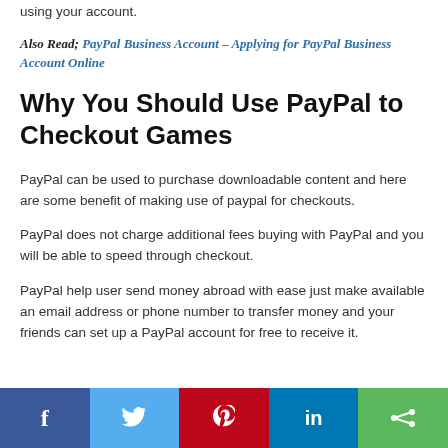using your account.
Also Read; PayPal Business Account – Applying for PayPal Business Account Online
Why You Should Use PayPal to Checkout Games
PayPal can be used to purchase downloadable content and here are some benefit of making use of paypal for checkouts.
PayPal does not charge additional fees buying with PayPal and you will be able to speed through checkout.
PayPal help user send money abroad with ease just make available an email address or phone number to transfer money and your friends can set up a PayPal account for free to receive it.
Social share bar: Facebook, Twitter, Pinterest, LinkedIn, Share